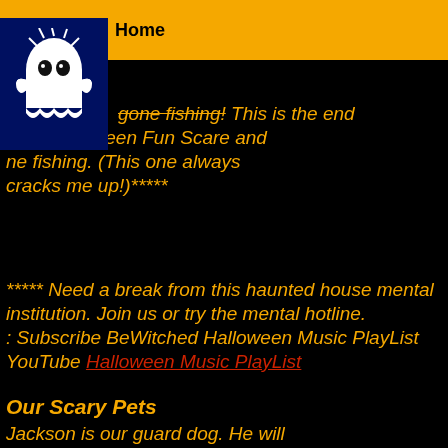Home
[Figure (illustration): Cartoon ghost character on dark navy background]
gone fishing! This is the end rk at Halloween Fun Scare and ne fishing. (This one always cracks me up!)****
***** Need a break from this haunted house mental institution. Join us or try the mental hotline. : Subscribe BeWitched Halloween Music PlayList YouTube Halloween Music PlayList
Our Scary Pets
Jackson is our guard dog. He will